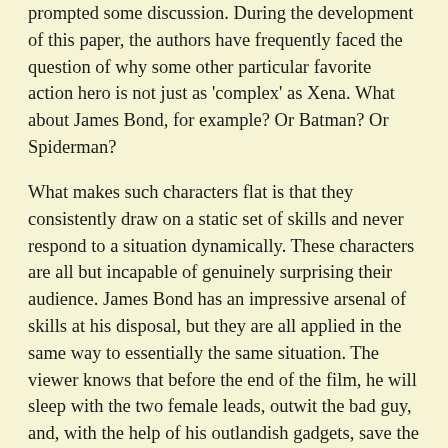prompted some discussion. During the development of this paper, the authors have frequently faced the question of why some other particular favorite action hero is not just as 'complex' as Xena. What about James Bond, for example? Or Batman? Or Spiderman?
What makes such characters flat is that they consistently draw on a static set of skills and never respond to a situation dynamically. These characters are all but incapable of genuinely surprising their audience. James Bond has an impressive arsenal of skills at his disposal, but they are all applied in the same way to essentially the same situation. The viewer knows that before the end of the film, he will sleep with the two female leads, outwit the bad guy, and, with the help of his outlandish gadgets, save the world. His sexuality will never be even slightly called into question. He is 'pure' good (he has a lifetime of self-sacrificing service to Her Majesty's government and has